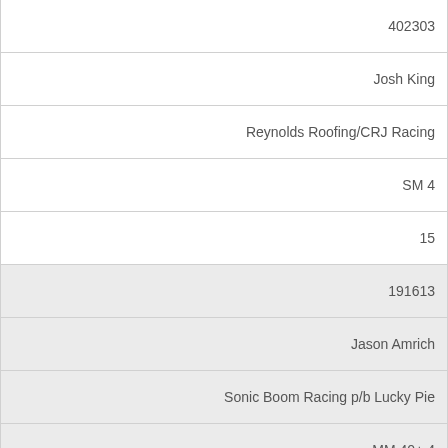| 402303 |
| Josh King |
| Reynolds Roofing/CRJ Racing |
| SM 4 |
| 15 |
| 191613 |
| Jason Amrich |
| Sonic Boom Racing p/b Lucky Pie |
| MM 40+ 4 |
| 15 |